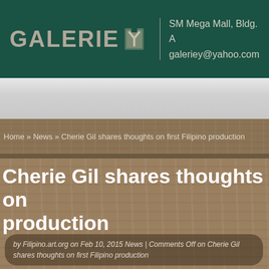GALERIE Y | SM Mega Mall, Bldg. A galeriey@yahoo.com
Home » News » Cherie Gil shares thoughts on first Filipino production
Cherie Gil shares thoughts on first Filipino production
by Filipino.art.org on Feb 10, 2015 News | Comments Off on Cherie Gil shares thoughts on first Filipino production